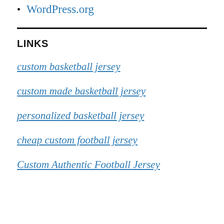WordPress.org
LINKS
custom basketball jersey
custom made basketball jersey
personalized basketball jersey
cheap custom football jersey
Custom Authentic Football Jersey